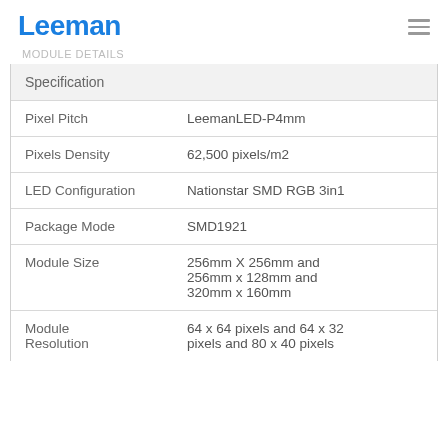Leeman
MODULE DETAILS
| Specification |  |
| --- | --- |
| Pixel Pitch | LeemanLED-P4mm |
| Pixels Density | 62,500 pixels/m2 |
| LED Configuration | Nationstar SMD RGB 3in1 |
| Package Mode | SMD1921 |
| Module Size | 256mm X 256mm and 256mm x 128mm and 320mm x 160mm |
| Module Resolution | 64 x 64 pixels and 64 x 32 pixels and 80 x 40 pixels |